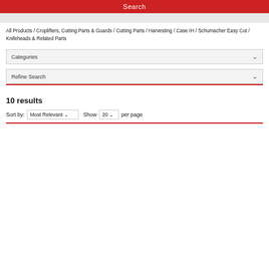Search
All Products / Croplifters, Cutting Parts & Guards / Cutting Parts / Harvesting / Case IH / Schumacher Easy Cut / Knifeheads & Related Parts
Categories
Refine Search
10 results
Sort by: Most Relevant  Show 20 per page